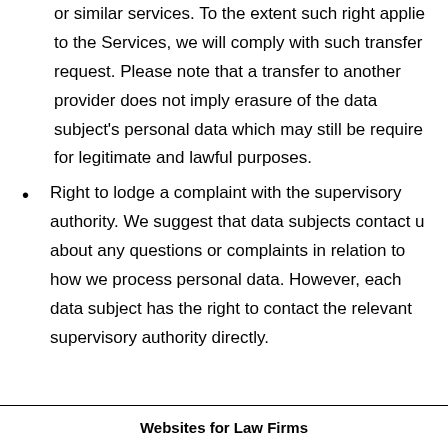or similar services. To the extent such right applies to the Services, we will comply with such transfer request. Please note that a transfer to another provider does not imply erasure of the data subject's personal data which may still be required for legitimate and lawful purposes.
Right to lodge a complaint with the supervisory authority. We suggest that data subjects contact us about any questions or complaints in relation to how we process personal data. However, each data subject has the right to contact the relevant supervisory authority directly.
Websites for Law Firms